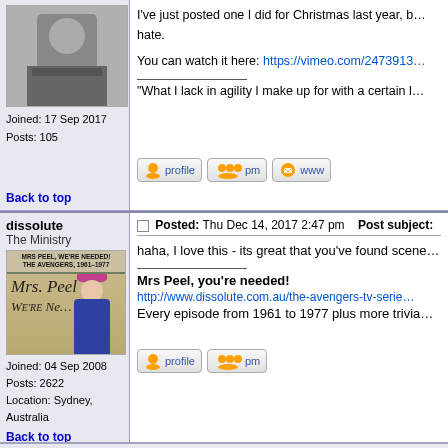I've just posted one I did for Christmas last year, but hate.
You can watch it here: https://vimeo.com/2473913...
"What I lack in agility I make up for with a certain l...
Joined: 17 Sep 2017
Posts: 105
Back to top
dissolute
The Ministry
[Figure (photo): Forum avatar for user dissolute: Mrs Peel We're Needed - The Avengers 1961-1977 book cover with woman in pink hat]
Posted: Thu Dec 14, 2017 2:47 pm    Post subject:
haha, I love this - its great that you've found scene...
Mrs Peel, you're needed!
http://www.dissolute.com.au/the-avengers-tv-serie...
Every episode from 1961 to 1977 plus more trivia...
Joined: 04 Sep 2008
Posts: 2622
Location: Sydney, Australia
Back to top
MasterMind
Posted: Thu Dec 14, 2017 5:11 pm    Post subject: